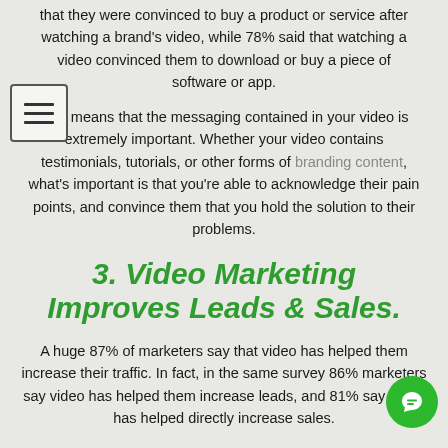that they were convinced to buy a product or service after watching a brand's video, while 78% said that watching a video convinced them to download or buy a piece of software or app.
This means that the messaging contained in your video is extremely important. Whether your video contains testimonials, tutorials, or other forms of branding content, what's important is that you're able to acknowledge their pain points, and convince them that you hold the solution to their problems.
3. Video Marketing Improves Leads & Sales.
A huge 87% of marketers say that video has helped them increase their traffic. In fact, in the same survey 86% marketers say video has helped them increase leads, and 81% say that it has helped directly increase sales.